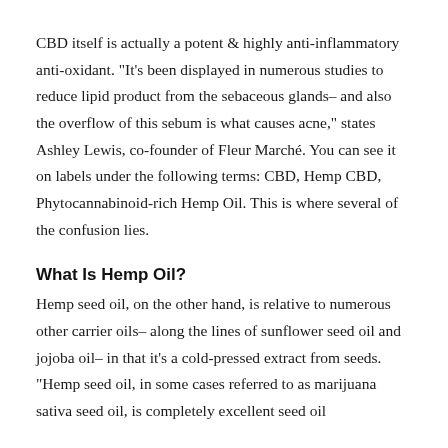CBD itself is actually a potent & highly anti-inflammatory anti-oxidant. "It's been displayed in numerous studies to reduce lipid product from the sebaceous glands– and also the overflow of this sebum is what causes acne," states Ashley Lewis, co-founder of Fleur Marché. You can see it on labels under the following terms: CBD, Hemp CBD, Phytocannabinoid-rich Hemp Oil. This is where several of the confusion lies.
What Is Hemp Oil?
Hemp seed oil, on the other hand, is relative to numerous other carrier oils– along the lines of sunflower seed oil and jojoba oil– in that it's a cold-pressed extract from seeds. "Hemp seed oil, in some cases referred to as marijuana sativa seed oil, is completely excellent seed oil